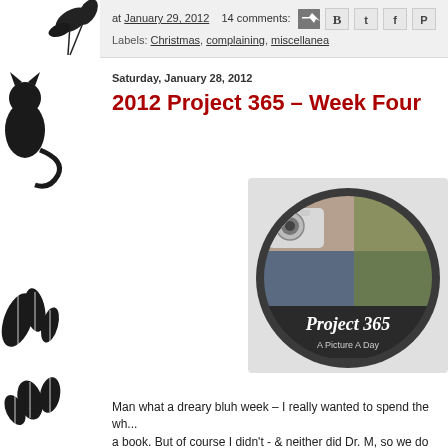[Figure (illustration): Left sidebar with decorative black and white floral/botanical illustrated pattern on white background]
at January 29, 2012   14 comments:
[Figure (infographic): Row of social sharing icons: email, Blogger, Twitter, Facebook, Pinterest]
Labels: Christmas, complaining, miscellanea
Saturday, January 28, 2012
2012 Project 365 – Week Four
[Figure (photo): Project 365 badge/logo: circular dark grey badge with a camera and photo collage, text reading 'Project 365 A Picture A Day']
Man what a dreary bluh week – I really wanted to spend the wh... a book. But of course I didn't - & neither did Dr. M, so we do ha...